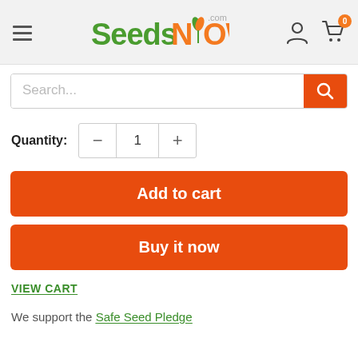[Figure (logo): SeedsNow.com logo with green 'Seeds' text, orange 'NOW' text, small sprout graphic, and '.com' superscript]
Search...
Quantity: 1
Add to cart
Buy it now
VIEW CART
We support the Safe Seed Pledge